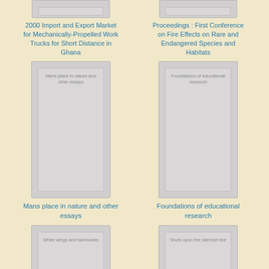[Figure (illustration): Book cover placeholder for '2000 Import and Export Market for Mechanically-Propelled Work Trucks for Short Distance in Ghana']
2000 Import and Export Market for Mechanically-Propelled Work Trucks for Short Distance in Ghana
[Figure (illustration): Book cover placeholder for 'Proceedings : First Conference on Fire Effects on Rare and Endangered Species and Habitats']
Proceedings : First Conference on Fire Effects on Rare and Endangered Species and Habitats
[Figure (illustration): Book cover placeholder for 'Mans place in nature and other essays']
Mans place in nature and other essays
[Figure (illustration): Book cover placeholder for 'Foundations of educational research']
Foundations of educational research
[Figure (illustration): Book cover placeholder for 'White wings and barricades']
White wings and barricades
[Figure (illustration): Book cover placeholder for 'Shots upon the skirmish line']
Shots upon the skirmish line